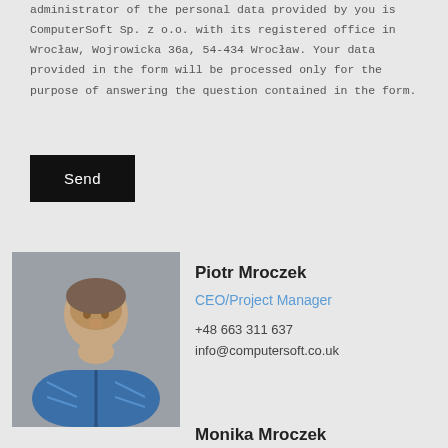administrator of the personal data provided by you is ComputerSoft Sp. z o.o. with its registered office in Wrocław, Wojrowicka 36a, 54-434 Wrocław. Your data provided in the form will be processed only for the purpose of answering the question contained in the form.
[Figure (other): Black 'Send' button]
[Figure (photo): Headshot photo of Piotr Mroczek, a man in a blue plaid shirt against a grey background]
Piotr Mroczek
CEO/Project Manager
+48 663 311 637
info@computersoft.co.uk
Monika Mroczek